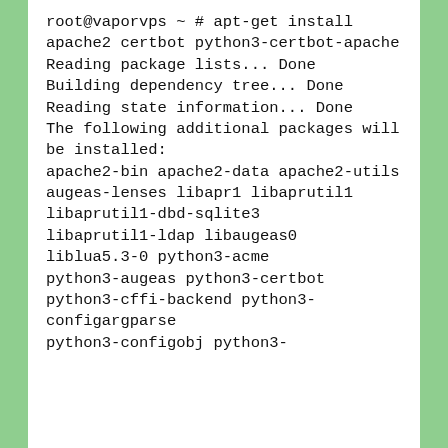root@vaporvps ~ # apt-get install apache2 certbot python3-certbot-apache
Reading package lists... Done
Building dependency tree... Done
Reading state information... Done
The following additional packages will be installed:
apache2-bin apache2-data apache2-utils augeas-lenses libapr1 libaprutil1
libaprutil1-dbd-sqlite3
libaprutil1-ldap libaugeas0
liblua5.3-0 python3-acme
python3-augeas python3-certbot
python3-cffi-backend python3-configargparse
python3-configobj python3-